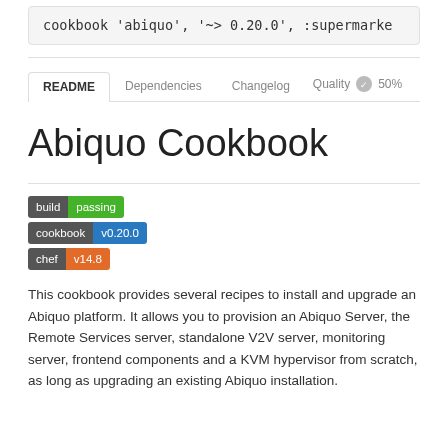cookbook 'abiquo', '~> 0.20.0', :supermarke
README | Dependencies | Changelog | Quality 50%
Abiquo Cookbook
[Figure (other): Three badge images: build passing (green), cookbook v0.20.0 (blue), chef v14.8 (orange)]
This cookbook provides several recipes to install and upgrade an Abiquo platform. It allows you to provision an Abiquo Server, the Remote Services server, standalone V2V server, monitoring server, frontend components and a KVM hypervisor from scratch, as long as upgrading an existing Abiquo installation.